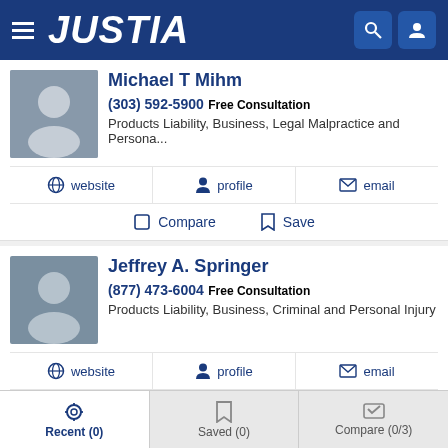JUSTIA
Michael T Mihm
(303) 592-5900 Free Consultation
Products Liability, Business, Legal Malpractice and Persona...
website | profile | email
Compare | Save
Jeffrey A. Springer
(877) 473-6004 Free Consultation
Products Liability, Business, Criminal and Personal Injury
website | profile | email
Compare | Save
Recent (0) | Saved (0) | Compare (0/3)